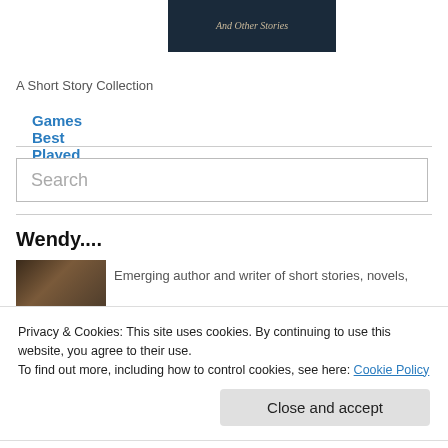[Figure (illustration): Book cover image with dark background and italic serif text reading 'And Other Stories']
Games Best Played Alone
A Short Story Collection
Search
Wendy....
[Figure (photo): Author photo, partially visible, dark tones]
Emerging author and writer of short stories, novels,
Privacy & Cookies: This site uses cookies. By continuing to use this website, you agree to their use.
To find out more, including how to control cookies, see here: Cookie Policy
Close and accept